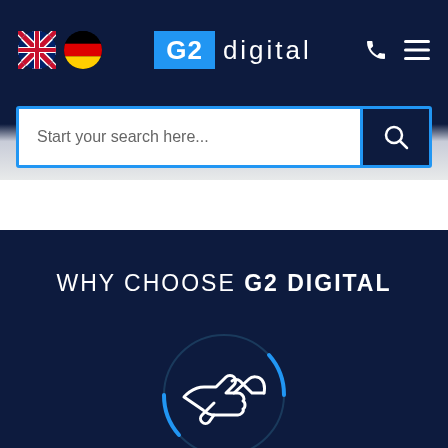[Figure (screenshot): G2 Digital website header with navigation bar showing UK and German flag icons, G2 Digital logo in blue and white, phone and hamburger menu icons]
Start your search here...
WHY CHOOSE G2 DIGITAL
[Figure (illustration): White outline icon of a handshake inside a circular border with blue arc accents on dark navy background]